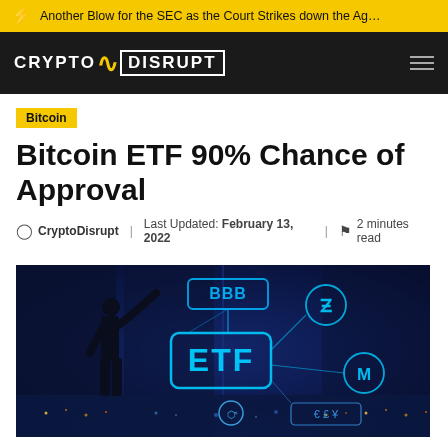Another Blow for the SEC as the Court Strikes down the Ag…
CRYPTODISRUPT
Bitcoin
Bitcoin ETF 90% Chance of Approval
CryptoDisrupt   Last Updated: February 13, 2022   2 minutes read
[Figure (photo): Person silhouetted against a glowing display showing cryptocurrency ETF symbols including BBB, ETF text, Zcash Z, Monero M, and currency symbols, with a city skyline at night in the background]